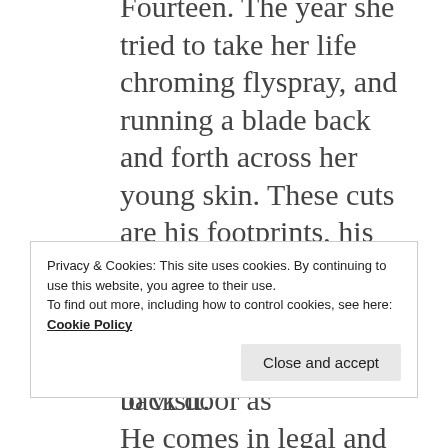Fourteen. The year she tried to take her life chroming flyspray, and running a blade back and forth across her young skin. These cuts are his footprints, his scat,

often found on young girls after he first comes to visit.
He comes in legal and illegal guises.
Privacy & Cookies: This site uses cookies. By continuing to use this website, you agree to their use.
To find out more, including how to control cookies, see here: Cookie Policy
Close and accept
or he can slip in the back door as